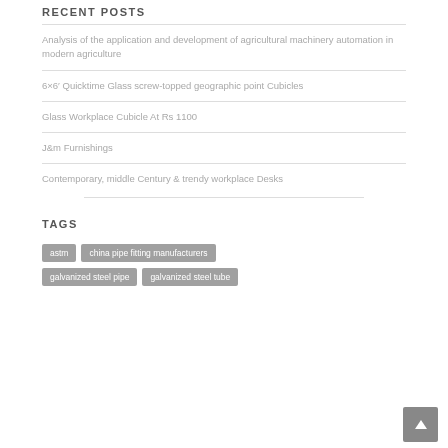RECENT POSTS
Analysis of the application and development of agricultural machinery automation in modern agriculture
6×6′ Quicktime Glass screw-topped geographic point Cubicles
Glass Workplace Cubicle At Rs 1100
J&m Furnishings
Contemporary, middle Century & trendy workplace Desks
TAGS
astm
china pipe fitting manufacturers
galvanized steel pipe
galvanized steel tube